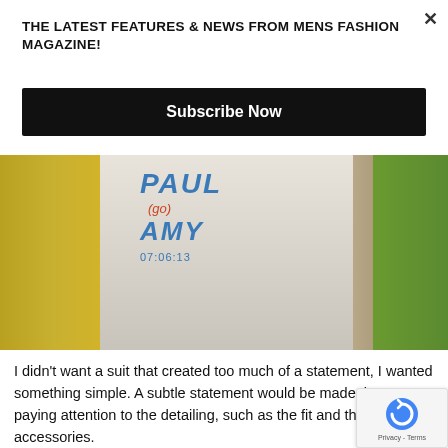THE LATEST FEATURES & NEWS FROM MENS FASHION MAGAZINE!
Subscribe Now
[Figure (photo): Outdoor pathway with yellow flowering shrubs on the left, green grass on the right, and a white banner/runner on the ground reading 'PAUL AMY 07:06:13' in blue and red stylized text.]
I didn't want a suit that created too much of a statement, I wanted something simple. A subtle statement would be made through paying attention to the detailing, such as the fit and the accessories.